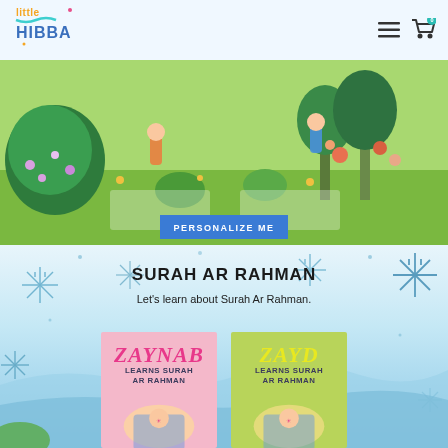[Figure (logo): Little Hibba brand logo with colorful text]
[Figure (illustration): Garden scene with children playing, trees, flowers, and a Personalize Me button]
SURAH AR RAHMAN
Let's learn about Surah Ar Rahman.
[Figure (illustration): Two personalized book covers: Zaynab Learns Surah Ar Rahman (pink) and Zayd Learns Surah Ar Rahman (green), set against light blue winter background with snowflakes]